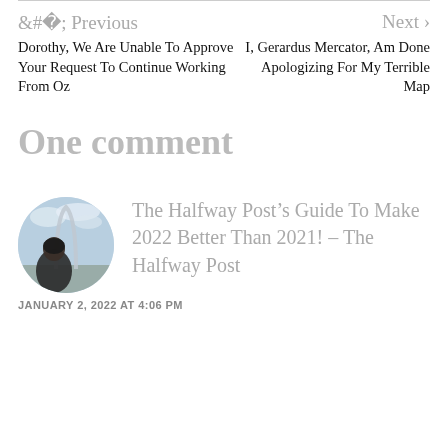< Previous
Next >
Dorothy, We Are Unable To Approve Your Request To Continue Working From Oz
I, Gerardus Mercator, Am Done Apologizing For My Terrible Map
One comment
[Figure (photo): Circular avatar photo of a person from behind, with an arch structure visible in background against a sky with clouds.]
The Halfway Post’s Guide To Make 2022 Better Than 2021! – The Halfway Post
JANUARY 2, 2022 AT 4:06 PM